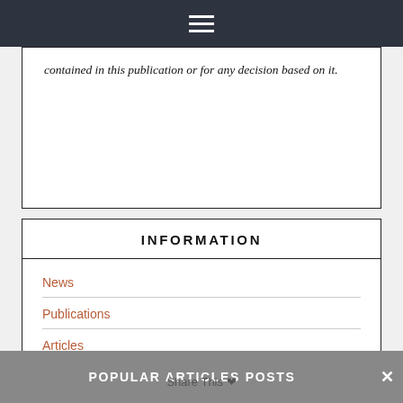≡ (hamburger menu icon)
contained in this publication or for any decision based on it.
INFORMATION
News
Publications
Articles
POPULAR ARTICLES POSTS